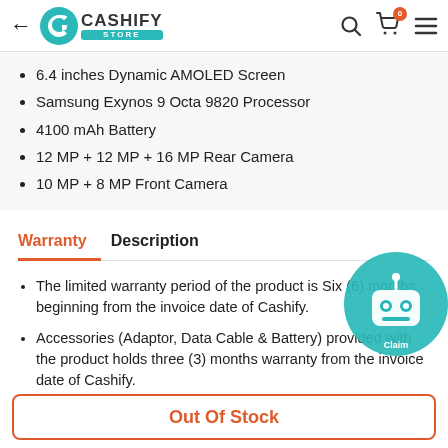Cashify Store
6.4 inches Dynamic AMOLED Screen
Samsung Exynos 9 Octa 9820 Processor
4100 mAh Battery
12 MP + 12 MP + 16 MP Rear Camera
10 MP + 8 MP Front Camera
Warranty | Description
The limited warranty period of the product is Six (6) months beginning from the invoice date of Cashify.
Accessories (Adaptor, Data Cable & Battery) provided with the product holds three (3) months warranty from the invoice date of Cashify.
For any damaged devices received, the end-user has to claim the replacement to the authorized retailer/PhonePro within two...
[Figure (illustration): Cashify chatbot robot icon overlay in teal circle]
Out Of Stock